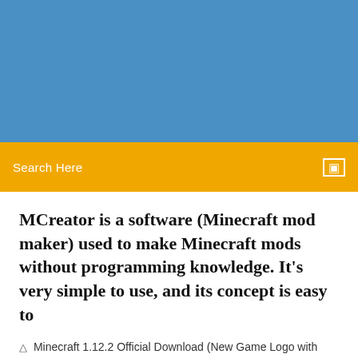[Figure (photo): Blue header banner area at the top of the webpage]
Search Here
MCreator is a software (Minecraft mod maker) used to make Minecraft mods without programming knowledge. It's very simple to use, and its concept is easy to
Minecraft 1.12.2 Official Download (New Game Logo with Java Edition) Author: Mojang Team September 20, 2017 136,243 views Minecraft 1.12.2 is an update for Minecraft: Java Edition released